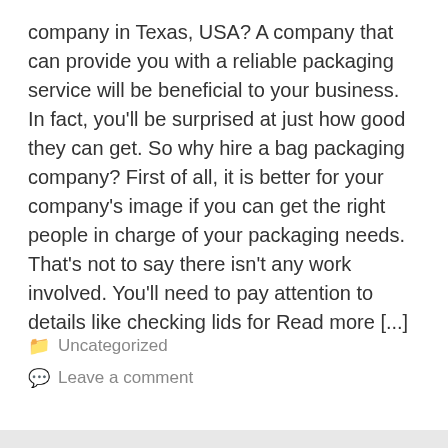company in Texas, USA? A company that can provide you with a reliable packaging service will be beneficial to your business. In fact, you'll be surprised at just how good they can get. So why hire a bag packaging company? First of all, it is better for your company's image if you can get the right people in charge of your packaging needs. That's not to say there isn't any work involved. You'll need to pay attention to details like checking lids for Read more [...]
Uncategorized
Leave a comment